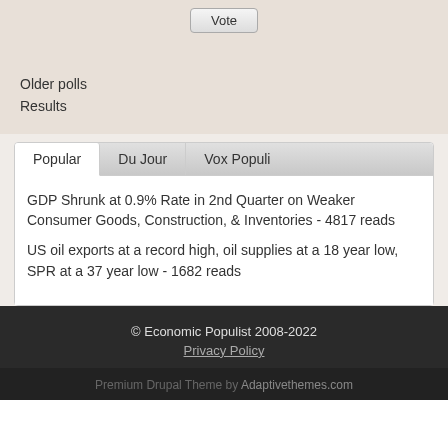Vote
Older polls
Results
Popular | Du Jour | Vox Populi
GDP Shrunk at 0.9% Rate in 2nd Quarter on Weaker Consumer Goods, Construction, & Inventories - 4817 reads
US oil exports at a record high, oil supplies at a 18 year low, SPR at a 37 year low - 1682 reads
© Economic Populist 2008-2022
Privacy Policy
Premium Drupal Theme by Adaptivethemes.com